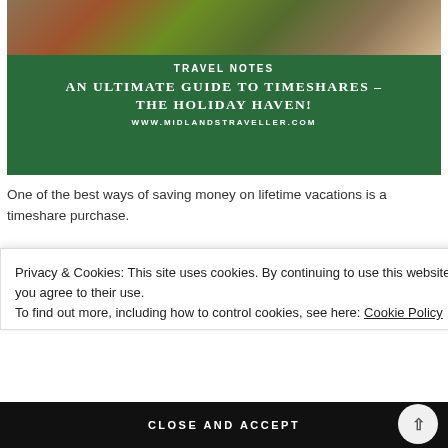[Figure (illustration): Green banner with travel blog header image showing food/map at top, green background with white text: 'TRAVEL NOTES', 'AN ULTIMATE GUIDE TO TIMESHARES – THE HOLIDAY HAVEN!', 'WWW.MIDLANDSTRAVELLER.COM']
One of the best ways of saving money on lifetime vacations is a timeshare purchase.
Privacy & Cookies: This site uses cookies. By continuing to use this website, you agree to their use.
To find out more, including how to control cookies, see here: Cookie Policy
CLOSE AND ACCEPT